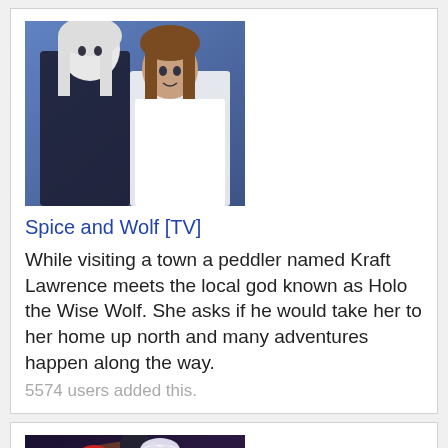[Figure (illustration): Anime screenshot showing two characters, a white-haired male and a brown-haired female, against a blue background]
Spice and Wolf [TV]
While visiting a town a peddler named Kraft Lawrence meets the local god known as Holo the Wise Wolf. She asks if he would take her to her home up north and many adventures happen along the way.
5574 users added this.
[Figure (illustration): Anime poster showing multiple characters with colorful magical/fantasy imagery]